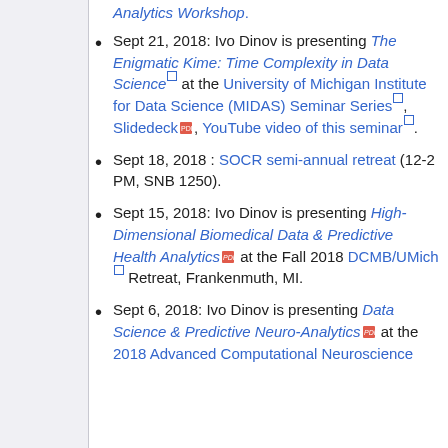Analytics Workshop.
Sept 21, 2018: Ivo Dinov is presenting The Enigmatic Kime: Time Complexity in Data Science at the University of Michigan Institute for Data Science (MIDAS) Seminar Series, Slidedeck, YouTube video of this seminar.
Sept 18, 2018 : SOCR semi-annual retreat (12-2 PM, SNB 1250).
Sept 15, 2018: Ivo Dinov is presenting High-Dimensional Biomedical Data & Predictive Health Analytics at the Fall 2018 DCMB/UMich Retreat, Frankenmuth, MI.
Sept 6, 2018: Ivo Dinov is presenting Data Science & Predictive Neuro-Analytics at the 2018 Advanced Computational Neuroscience